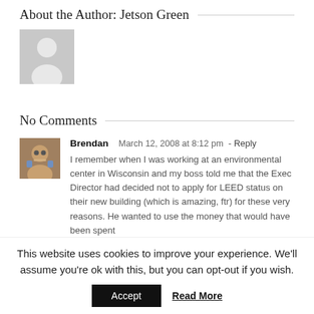About the Author: Jetson Green
[Figure (illustration): Default user avatar silhouette placeholder image]
No Comments
[Figure (photo): Profile photo of commenter Brendan]
Brendan   March 12, 2008 at 8:12 pm - Reply
I remember when I was working at an environmental center in Wisconsin and my boss told me that the Exec Director had decided not to apply for LEED status on their new building (which is amazing, ftr) for these very reasons. He wanted to use the money that would have been spent
This website uses cookies to improve your experience. We'll assume you're ok with this, but you can opt-out if you wish.